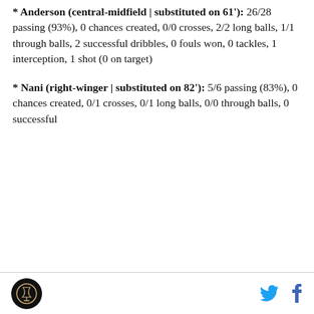* Anderson (central-midfield | substituted on 61'): 26/28 passing (93%), 0 chances created, 0/0 crosses, 2/2 long balls, 1/1 through balls, 2 successful dribbles, 0 fouls won, 0 tackles, 1 interception, 1 shot (0 on target)
* Nani (right-winger | substituted on 82'): 5/6 passing (83%), 0 chances created, 0/1 crosses, 0/1 long balls, 0/0 through balls, 0 successful
[logo] [twitter] [facebook]